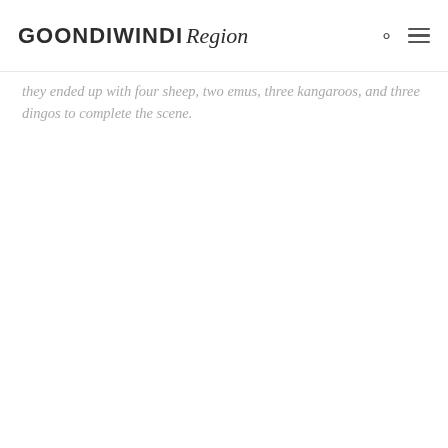GOONDIWINDI Region
they ended up with four sheep, two emus, three kangaroos, and three dingos to complete the scene.